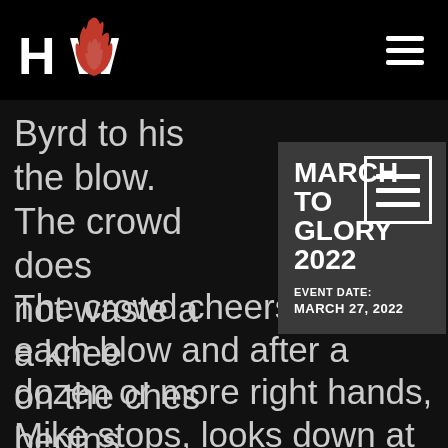HCW logo and navigation header
Byrd to his [obscured] the blow. The crowd [obscured] like does not waste a [obscured] buts a knee on the ches [obscured] begins raining dow [obscured] ries to cover up.
[Figure (infographic): Overlay card showing MARCH TO GLORY 2022 with hamburger icon, EVENT DATE: MARCH 27, 2022]
The crowd cheers with each blow and after a dozen or more right hands, Mike stops, looks down at his now bloody right hand, and then delivers one more right